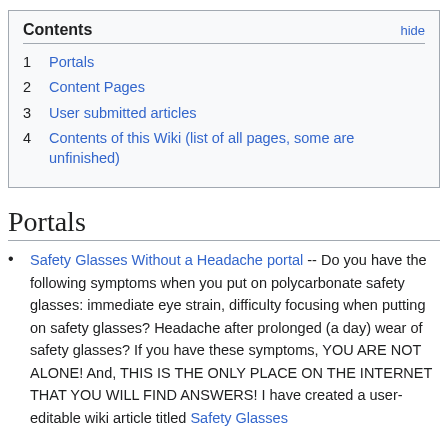| Contents | hide |
| --- | --- |
| 1 | Portals |
| 2 | Content Pages |
| 3 | User submitted articles |
| 4 | Contents of this Wiki (list of all pages, some are unfinished) |
Portals
Safety Glasses Without a Headache portal -- Do you have the following symptoms when you put on polycarbonate safety glasses: immediate eye strain, difficulty focusing when putting on safety glasses? Headache after prolonged (a day) wear of safety glasses? If you have these symptoms, YOU ARE NOT ALONE! And, THIS IS THE ONLY PLACE ON THE INTERNET THAT YOU WILL FIND ANSWERS! I have created a user-editable wiki article titled Safety Glasses